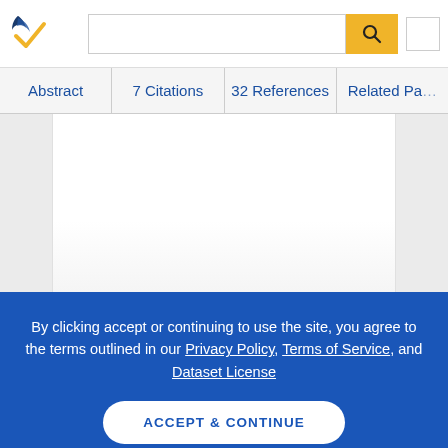[Figure (logo): Semantic Scholar logo with stylized book pages and checkmark in navy/gold]
Abstract | 7 Citations | 32 References | Related Pa...
By clicking accept or continuing to use the site, you agree to the terms outlined in our Privacy Policy, Terms of Service, and Dataset License
ACCEPT & CONTINUE